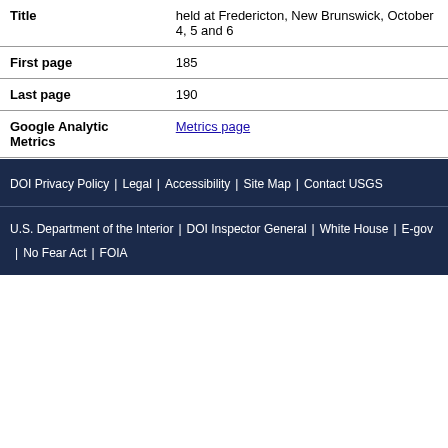| Title | held at Fredericton, New Brunswick, October 4, 5 and 6 |
| First page | 185 |
| Last page | 190 |
| Google Analytic Metrics | Metrics page |
DOI Privacy Policy | Legal | Accessibility | Site Map | Contact USGS
U.S. Department of the Interior | DOI Inspector General | White House | E-gov | No Fear Act | FOIA